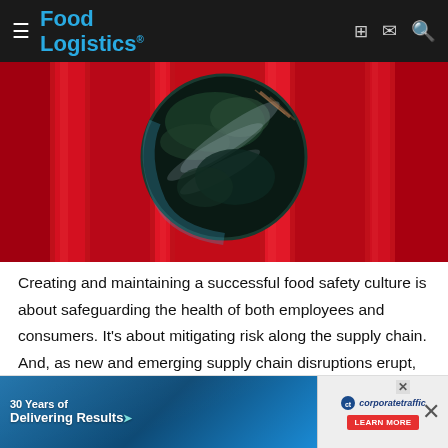Food Logistics
[Figure (illustration): Globe/Earth sphere in front of red curtain-like background — stylized editorial illustration for food safety article]
Creating and maintaining a successful food safety culture is about safeguarding the health of both employees and consumers. It's about mitigating risk along the supply chain. And, as new and emerging supply chain disruptions erupt, it's about achieving food safety success and “creating a behavior-based food safety management system,” according to [link text] for food policy and response for the Food & Drug Administration
[Figure (advertisement): Corporate Traffic ad: '30 Years of Delivering Results' with blue truck background and corporatetraffic logo with Learn More button]